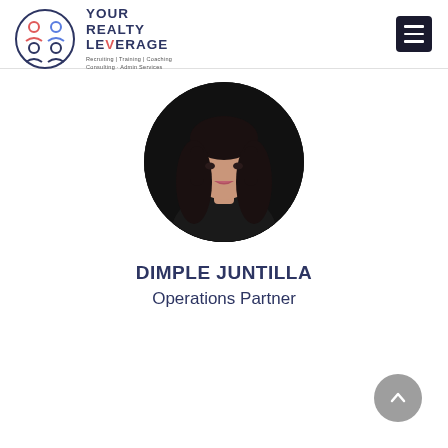YOUR REALTY LEVERAGE — Recruiting | Training | Coaching | Consulting · Admin Services
[Figure (logo): Your Realty Leverage logo: circular icon with three person silhouettes (red, blue, dark) arranged in a circle, next to bold text 'YOUR REALTY LEVERAGE' with tagline 'Recruiting | Training | Coaching | Consulting · Admin Services']
[Figure (photo): Circular headshot photo of Dimple Juntilla, a woman with long dark hair wearing dark clothing, against a dark background.]
DIMPLE JUNTILLA
Operations Partner